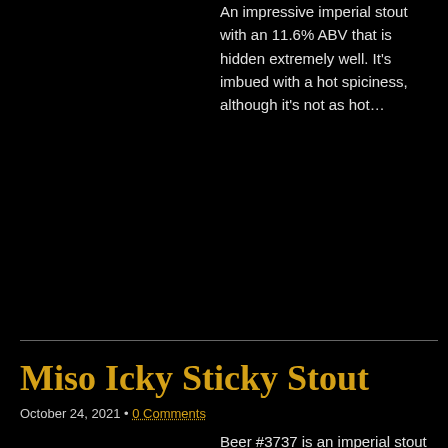An impressive imperial stout with an 11.6% ABV that is hidden extremely well. It's imbued with a hot spiciness, although it's not as hot…
Read more →
Miso Icky Sticky Stout
October 24, 2021 • 0 Comments
Beer #3737 is an imperial stout brewed by Pirate Life Brewing in Hindmarsh, Adelaide, S.A., Australia. With a 10.6% ABV, this imperial stout succeeds in masking the ABV with a sticky sweet mouthfeel, medium bodied. The ABV contributes a